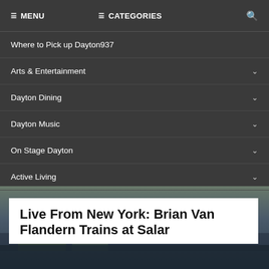☰ MENU   ☰ CATEGORIES   🔍
Where to Pick up Dayton937
Arts & Entertainment
Dayton Dining
Dayton Music
On Stage Dayton
Active Living
[Figure (photo): Outdoor photo of a waterfront or park area, partially visible behind the navigation overlay]
Live From New York: Brian Van Flandern Trains at Salar